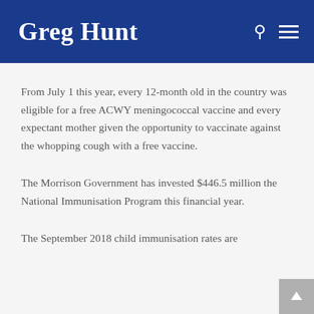Greg Hunt
From July 1 this year, every 12-month old in the country was eligible for a free ACWY meningococcal vaccine and every expectant mother given the opportunity to vaccinate against the whopping cough with a free vaccine.
The Morrison Government has invested $446.5 million the National Immunisation Program this financial year.
The September 2018 child immunisation rates are